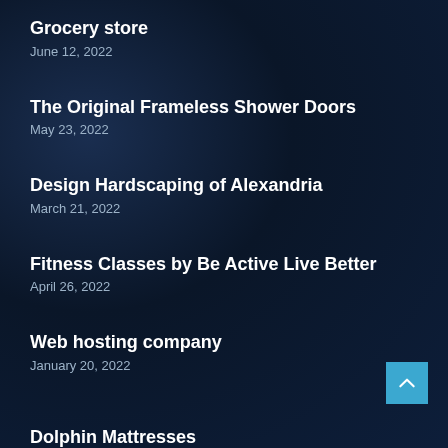Grocery store
June 12, 2022
The Original Frameless Shower Doors
May 23, 2022
Design Hardscaping of Alexandria
March 21, 2022
Fitness Classes by Be Active Live Better
April 26, 2022
Web hosting company
January 20, 2022
Dolphin Mattresses